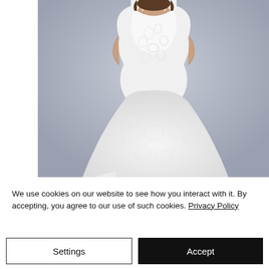[Figure (photo): A woman in a white lace mermaid-style wedding dress with spaghetti straps, photographed against a light grey-blue background. The gown features intricate floral lace appliqués and a flared skirt with a train.]
We use cookies on our website to see how you interact with it. By accepting, you agree to our use of such cookies. Privacy Policy
Settings
Accept